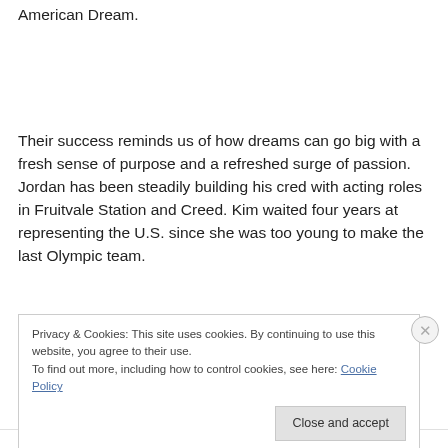American Dream.
Their success reminds us of how dreams can go big with a fresh sense of purpose and a refreshed surge of passion. Jordan has been steadily building his cred with acting roles in Fruitvale Station and Creed. Kim waited four years at representing the U.S. since she was too young to make the last Olympic team.
Privacy & Cookies: This site uses cookies. By continuing to use this website, you agree to their use.
To find out more, including how to control cookies, see here: Cookie Policy
Close and accept